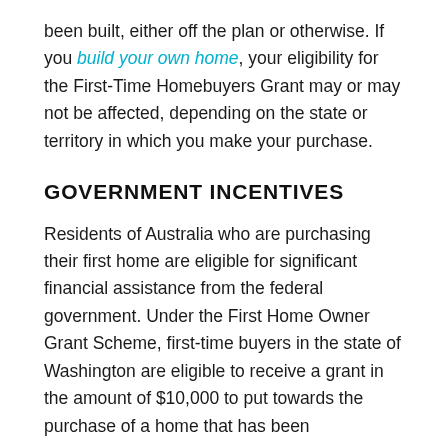been built, either off the plan or otherwise. If you build your own home, your eligibility for the First-Time Homebuyers Grant may or may not be affected, depending on the state or territory in which you make your purchase.
GOVERNMENT INCENTIVES
Residents of Australia who are purchasing their first home are eligible for significant financial assistance from the federal government. Under the First Home Owner Grant Scheme, first-time buyers in the state of Washington are eligible to receive a grant in the amount of $10,000 to put towards the purchase of a home that has been